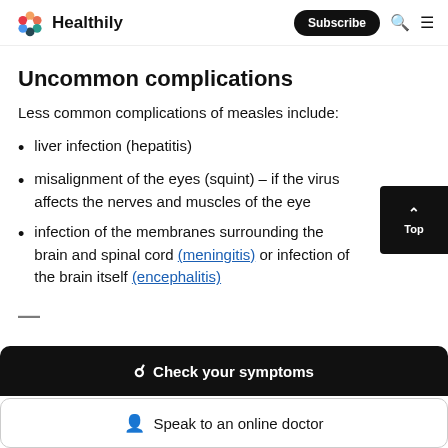Healthily | Subscribe
Uncommon complications
Less common complications of measles include:
liver infection (hepatitis)
misalignment of the eyes (squint) – if the virus affects the nerves and muscles of the eye
infection of the membranes surrounding the brain and spinal cord (meningitis) or infection of the brain itself (encephalitis)
Check your symptoms
Speak to an online doctor